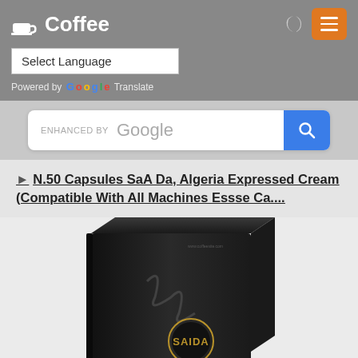☕ Coffee
Select Language
Powered by Google Translate
[Figure (screenshot): Google search bar with ENHANCED BY Google label and search button]
N.50 Capsules SaA Da, Algeria Expressed Cream (Compatible With All Machines Essse Ca....
[Figure (photo): Dark box packaging labeled SAIDA coffee capsules, partially visible from below]